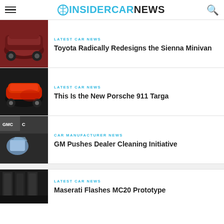INSIDER CAR NEWS
LATEST CAR NEWS
Toyota Radically Redesigns the Sienna Minivan
LATEST CAR NEWS
This Is the New Porsche 911 Targa
CAR MANUFACTURER NEWS
GM Pushes Dealer Cleaning Initiative
LATEST CAR NEWS
Maserati Flashes MC20 Prototype